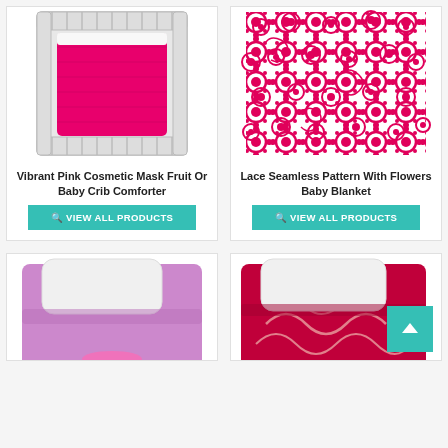[Figure (photo): Vibrant pink baby crib comforter in a white crib, viewed from above]
Vibrant Pink Cosmetic Mask Fruit Or Baby Crib Comforter
VIEW ALL PRODUCTS
[Figure (photo): Lace seamless pattern with flowers baby blanket in pink and white]
Lace Seamless Pattern With Flowers Baby Blanket
VIEW ALL PRODUCTS
[Figure (photo): Purple/lavender bedding set with pillow, partially visible]
[Figure (photo): Dark pink/red bedding with swirl pattern and pillow, partially visible, with back-to-top button overlay]